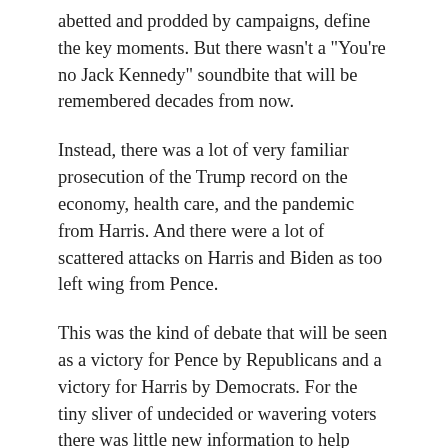abetted and prodded by campaigns, define the key moments. But there wasn’t a “You’re no Jack Kennedy” soundbite that will be remembered decades from now.
Instead, there was a lot of very familiar prosecution of the Trump record on the economy, health care, and the pandemic from Harris. And there were a lot of scattered attacks on Harris and Biden as too left wing from Pence.
This was the kind of debate that will be seen as a victory for Pence by Republicans and a victory for Harris by Democrats. For the tiny sliver of undecided or wavering voters there was little new information to help them make up their minds.
Of course, Kamala Harris and Mike Pence never had a chance to break through. Few politicians do in the age of Trump.
The last week has been about one big thing: Trump’s mismanagement of the pandemic. Trump has ensured that